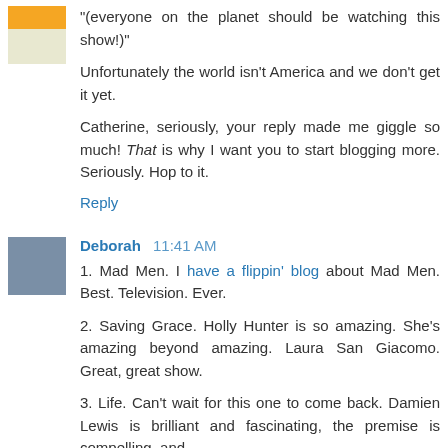"(everyone on the planet should be watching this show!)"
Unfortunately the world isn't America and we don't get it yet.
Catherine, seriously, your reply made me giggle so much! That is why I want you to start blogging more. Seriously. Hop to it.
Reply
Deborah  11:41 AM
1. Mad Men. I have a flippin' blog about Mad Men. Best. Television. Ever.
2. Saving Grace. Holly Hunter is so amazing. She's amazing beyond amazing. Laura San Giacomo. Great, great show.
3. Life. Can't wait for this one to come back. Damien Lewis is brilliant and fascinating, the premise is compelling, and